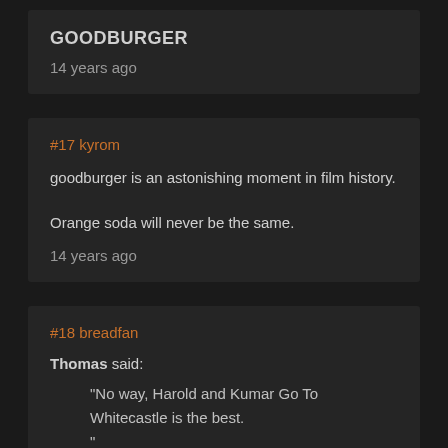GOODBURGER
14 years ago
#17 kyrom
goodburger is an astonishing moment in film history.

Orange soda will never be the same.
14 years ago
#18 breadfan
Thomas said:
"No way, Harold and Kumar Go To Whitecastle is the best.
"